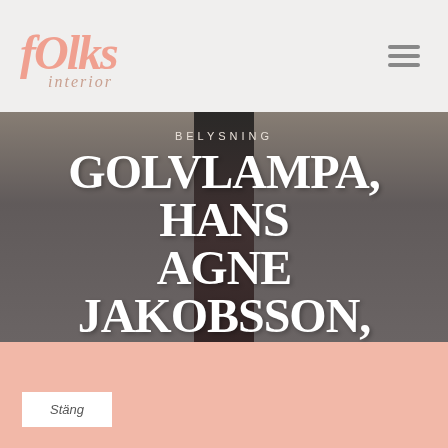[Figure (logo): fOlks interior logo in salmon/peach color with italic serif font]
BELYSNING
GOLVLAMPA, HANS AGNE JAKOBSSON, MARKARYD, 3 DELAD
Vi använder cookies för att se till att vi ger dig den bästa upplevelsen på vår hemsida. Om du fortsätter att använda den här webbplatsen kommer vi att anta att du godkänner detta.
Stäng